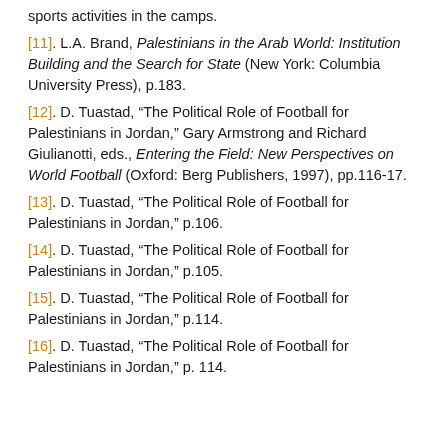sports activities in the camps.
[11]. L.A. Brand, Palestinians in the Arab World: Institution Building and the Search for State (New York: Columbia University Press), p.183.
[12]. D. Tuastad, “The Political Role of Football for Palestinians in Jordan,” Gary Armstrong and Richard Giulianotti, eds., Entering the Field: New Perspectives on World Football (Oxford: Berg Publishers, 1997), pp.116-17.
[13]. D. Tuastad, “The Political Role of Football for Palestinians in Jordan,” p.106.
[14]. D. Tuastad, “The Political Role of Football for Palestinians in Jordan,” p.105.
[15]. D. Tuastad, “The Political Role of Football for Palestinians in Jordan,” p.114.
[16]. D. Tuastad, “The Political Role of Football for Palestinians in Jordan,” p. 114.